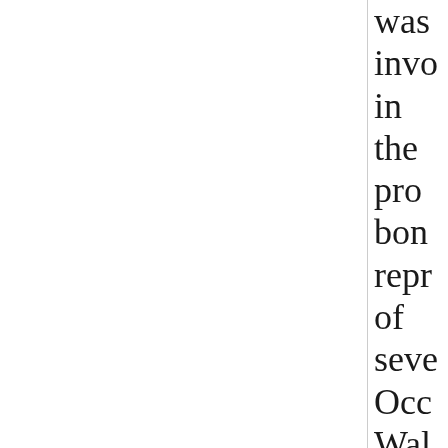was involved in the pro bono representation of several Occupy Wall Street Protesters who were wrongly arrested on the Brooklyn Bridge in the largest mass arrest